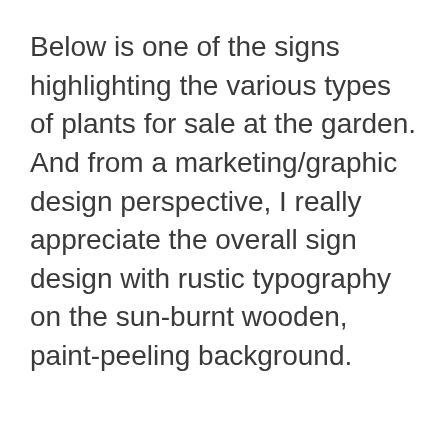Below is one of the signs highlighting the various types of plants for sale at the garden. And from a marketing/graphic design perspective, I really appreciate the overall sign design with rustic typography on the sun-burnt wooden, paint-peeling background.